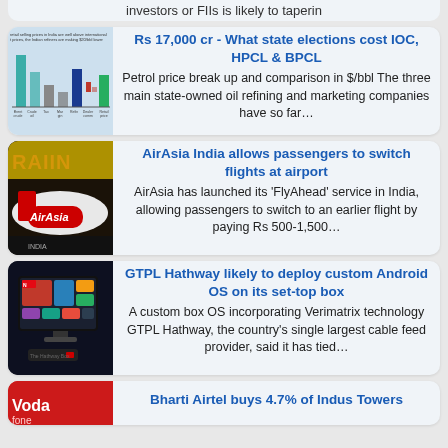investors or FIIs is likely to taperin
Rs 17,000 cr - What state elections cost IOC, HPCL & BPCL
[Figure (bar-chart): Petrol price break up and comparison chart in $/bbl with colored bar columns]
Petrol price break up and comparison in $/bbl The three main state-owned oil refining and marketing companies have so far…
[Figure (photo): AirAsia airplane with logo visible at airport gate, yellow RAINS sign in background]
AirAsia India allows passengers to switch flights at airport
AirAsia has launched its 'FlyAhead' service in India, allowing passengers to switch to an earlier flight by paying Rs 500-1,500…
[Figure (photo): Smart TV or set-top box device showing colorful streaming interface screen]
GTPL Hathway likely to deploy custom Android OS on its set-top box
A custom box OS incorporating Verimatrix technology GTPL Hathway, the country's single largest cable feed provider, said it has tied…
[Figure (photo): Vodafone branded storefront or signage in red]
Bharti Airtel buys 4.7% of Indus Towers